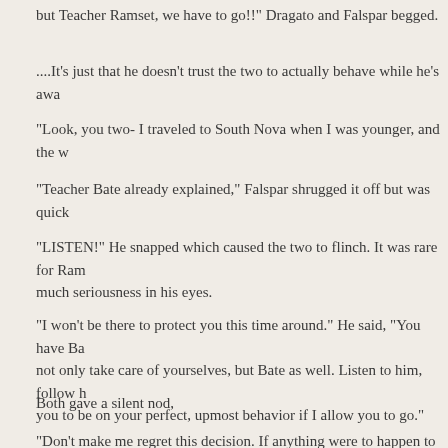but Teacher Ramset, we have to go!" Dragato and Falspar begged.
....It's just that he doesn't trust the two to actually behave while he's awa
“Look, you two- I traveled to South Nova when I was younger, and the w
“Teacher Bate already explained,” Falspar shrugged it off but was quick
“LISTEN!” He snapped which caused the two to flinch. It was rare for Ram much seriousness in his eyes.
“I won't be there to protect you this time around.” He said, “You have Ba not only take care of yourselves, but Bate as well. Listen to him, follow h you to be on your perfect, upmost behavior if I allow you to go.”
Both gave a silent nod,
“Don't make me regret this decision. If anything were to happen to the tv